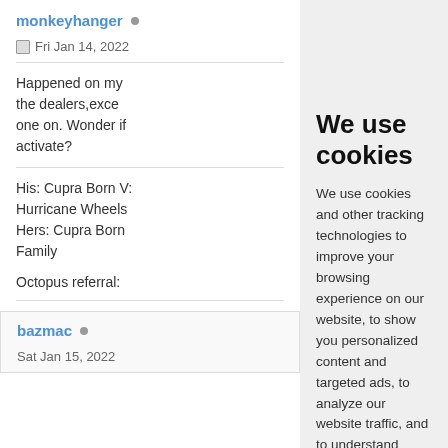monkeyhanger
Fri Jan 14, 2022
Happened on my the dealers,exce one on. Wonder if activate?
His: Cupra Born V Hurricane Wheels Hers: Cupra Born Family
Octopus referral:
bazmac
Sat Jan 15, 2022
We use cookies
We use cookies and other tracking technologies to improve your browsing experience on our website, to show you personalized content and targeted ads, to analyze our website traffic, and to understand where our visitors are coming from.
I agree
Change my preferences